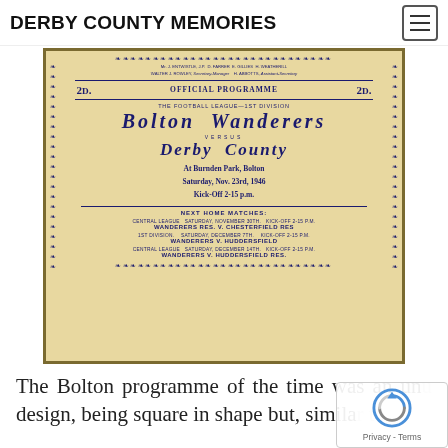DERBY COUNTY MEMORIES
[Figure (photo): Scanned football programme cover for Bolton Wanderers vs Derby County, Official Programme 2D, The Football League 1st Division, at Burnden Park Bolton, Saturday Nov 23rd 1946, Kick-Off 2-15 p.m. Next Home Matches listed.]
The Bolton programme of the time was an unu design, being square in shape but, similar to